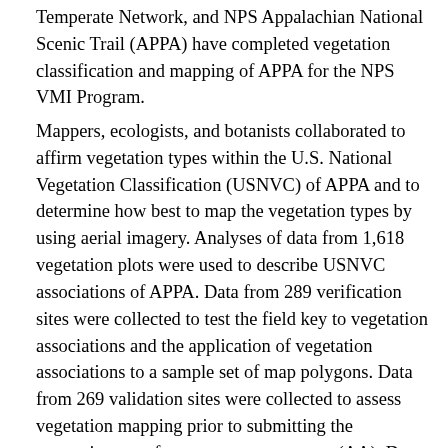Temperate Network, and NPS Appalachian National Scenic Trail (APPA) have completed vegetation classification and mapping of APPA for the NPS VMI Program.
Mappers, ecologists, and botanists collaborated to affirm vegetation types within the U.S. National Vegetation Classification (USNVC) of APPA and to determine how best to map the vegetation types by using aerial imagery. Analyses of data from 1,618 vegetation plots were used to describe USNVC associations of APPA. Data from 289 verification sites were collected to test the field key to vegetation associations and the application of vegetation associations to a sample set of map polygons. Data from 269 validation sites were collected to assess vegetation mapping prior to submitting the vegetation map for accuracy assessment (AA). Data from 3,265 AA sites were